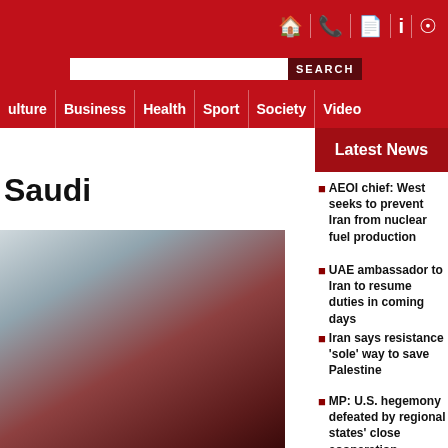Navigation bar with icons: home, phone, document, info, RSS. Search bar with SEARCH button. Nav links: Culture, Business, Health, Sport, Society, Video
Latest News
Saudi
[Figure (photo): Person wearing dark clothing, partial view, blurred background]
AEOI chief: West seeks to prevent Iran from nuclear fuel production
UAE ambassador to Iran to resume duties in coming days
Iran says resistance 'sole' way to save Palestine
MP: U.S. hegemony defeated by regional states' close cooperation
General: Iran an important regional power, influential global player